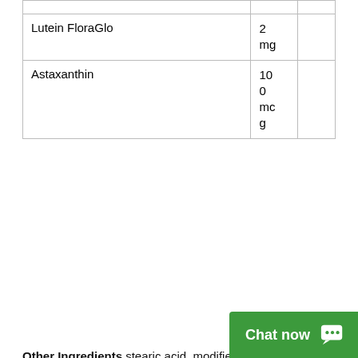| Ingredient | Amount | DV |
| --- | --- | --- |
| Lutein FloraGlo | 2 mg |  |
| Astaxanthin | 100 mcg |  |
Other Ingredients stearic acid, modified cellulose gum, acacia gum, colloidal silicon dioxide, and magnesium stearate.
Warning Do not use if you are pregnant, may become pregnant, breastfeeding, or taking any form of prescription nitrate such as nitroglycerin. If you are diabetic, have any blood coagulation disorder, or are taking any prescription drug, consult your physician before using this product. WARNING Accidental overdose of iron-containing products is a leading cause of fat...